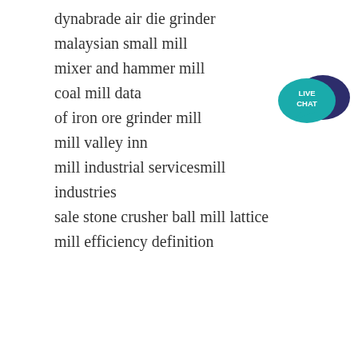dynabrade air die grinder
malaysian small mill
mixer and hammer mill
coal mill data
of iron ore grinder mill
mill valley inn
mill industrial servicesmill industries
sale stone crusher ball mill lattice
mill efficiency definition
[Figure (infographic): Live Chat badge — teal speech bubble with 'LIVE CHAT' text and dark blue overlapping bubble]
Home   Products   Solutions   Project   About   Contact
Copyright © 2020-2021 SKY Industry & Technology Group Co., Ltd. | sitemap
[Social icons: Twitter, Facebook, Google+, LinkedIn, Pinterest]